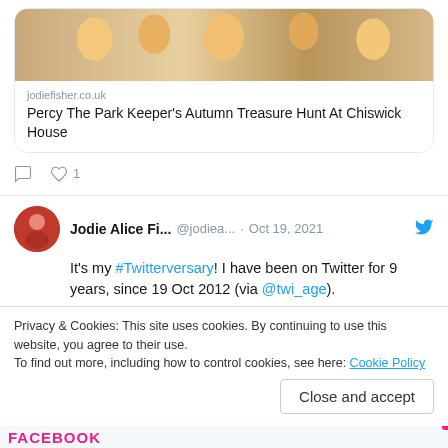[Figure (screenshot): Twitter/social media embed screenshot showing two tweets and a cookie consent banner. First tweet contains a link card for 'Percy The Park Keeper's Autumn Treasure Hunt At Chiswick House' from jodiefisher.co.uk. Second tweet by Jodie Alice Fi... @jodiea... Oct 19, 2021 reads: It's my #Twitterversary! I have been on Twitter for 9 years, since 19 Oct 2012 (via @twi_age). Below is a partially visible 'View more on Twitter' button. A cookie banner reads: Privacy & Cookies: This site uses cookies. By continuing to use this website, you agree to their use. To find out more, including how to control cookies, see here: Cookie Policy. With a 'Close and accept' button.]
jodiefisher.co.uk
Percy The Park Keeper’s Autumn Treasure Hunt At Chiswick House
Jodie Alice Fi... @jodiea... · Oct 19, 2021
It’s my #Twitterversary! I have been on Twitter for 9 years, since 19 Oct 2012 (via @twi_age).
Privacy & Cookies: This site uses cookies. By continuing to use this website, you agree to their use.
To find out more, including how to control cookies, see here: Cookie Policy
FACEBOOK